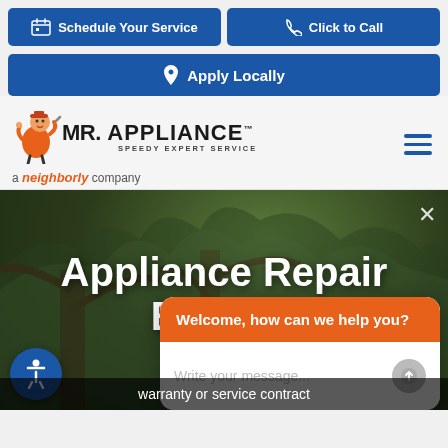[Figure (screenshot): Mr. Appliance website screenshot showing navigation buttons, logo, hero image with Appliance Repair Experts text, chat widget, and accessibility button]
Schedule Your Service
Click to Call
Apply Locally
MR. APPLIANCE™ SPEEDY EXPERT SERVICE
a neighborly company
Appliance Repair Experts
Welcome, how can we help you?
Write your message...
warranty or service contract